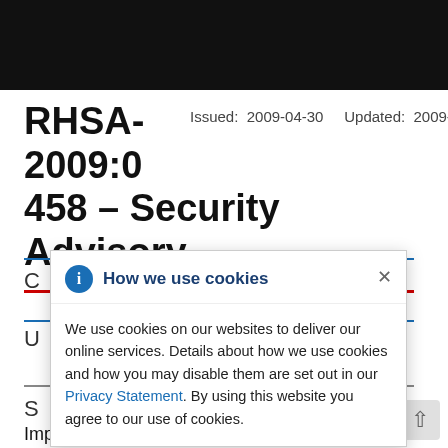RHSA-2009:0458 – Security Advisory
Issued: 2009-04-30   Updated: 2009-04-30
How we use cookies
We use cookies on our websites to deliver our online services. Details about how we use cookies and how you may disable them are set out in our Privacy Statement. By using this website you agree to our use of cookies.
Important: qpdf security update